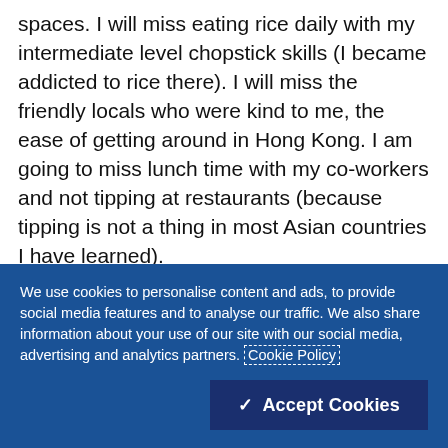spaces. I will miss eating rice daily with my intermediate level chopstick skills (I became addicted to rice there). I will miss the friendly locals who were kind to me, the ease of getting around in Hong Kong. I am going to miss lunch time with my co-workers and not tipping at restaurants (because tipping is not a thing in most Asian countries I have learned).

Hong Kong is very Westernized, so there aren't too
We use cookies to personalise content and ads, to provide social media features and to analyse our traffic. We also share information about your use of our site with our social media, advertising and analytics partners. Cookie Policy
✓ Accept Cookies